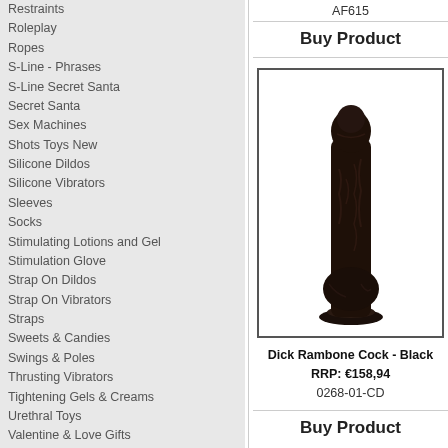Restraints
Roleplay
Ropes
S-Line - Phrases
S-Line Secret Santa
Secret Santa
Sex Machines
Shots Toys New
Silicone Dildos
Silicone Vibrators
Sleeves
Socks
Stimulating Lotions and Gel
Stimulation Glove
Strap On Dildos
Strap On Vibrators
Straps
Sweets & Candies
Swings & Poles
Thrusting Vibrators
Tightening Gels & Creams
Urethral Toys
Valentine & Love Gifts
Whips
AF615
Buy Product
[Figure (photo): Dick Rambone Cock - Black, a large dark-colored realistic dildo with suction cup base, standing upright.]
Dick Rambone Cock - Black
RRP: €158,94
0268-01-CD
Buy Product